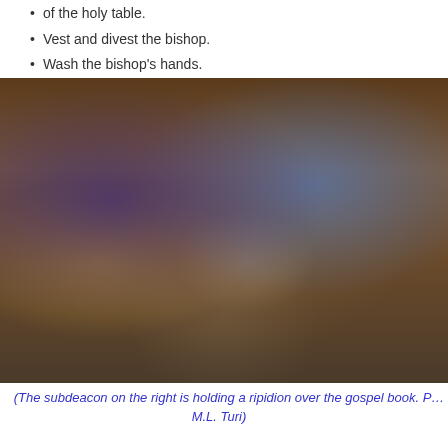of the holy table.
Vest and divest the bishop.
Wash the bishop’s hands.
[Figure (photo): An Orthodox Christian liturgical scene showing a bishop in purple and white vestments holding a staff with a golden ornamental top, and a subdeacon in blue vestments holding a ripidion, with altar servers and candles visible in the background inside a wooden church.]
(The subdeacon on the right is holding a ripidion over the gospel book. P… M.L. Turi)